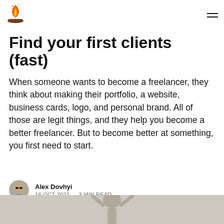Find your first clients (fast)
When someone wants to become a freelancer, they think about making their portfolio, a website, business cards, logo, and personal brand. All of those are legit things, and they help you become a better freelancer. But to become better at something, you first need to start.
Alex Dovhyi
16 OCT 2021 — 3 MIN READ
[Figure (photo): Photo of a person with arms raised, partially visible at the bottom of the page]